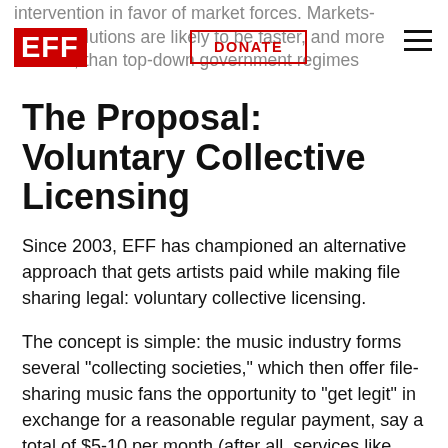intervention in favor of market forces. Markets-driven solutions are likely to be faster, and more efficient, than top-down government regimes
[Figure (logo): EFF logo in red background with white text]
The Proposal: Voluntary Collective Licensing
Since 2003, EFF has championed an alternative approach that gets artists paid while making file sharing legal: voluntary collective licensing.
The concept is simple: the music industry forms several "collecting societies," which then offer file-sharing music fans the opportunity to "get legit" in exchange for a reasonable regular payment, say a total of $5-10 per month (after all, services like Rhapsody sell all-you-can-eat music for around $10 per month, and so the rate should be at least...